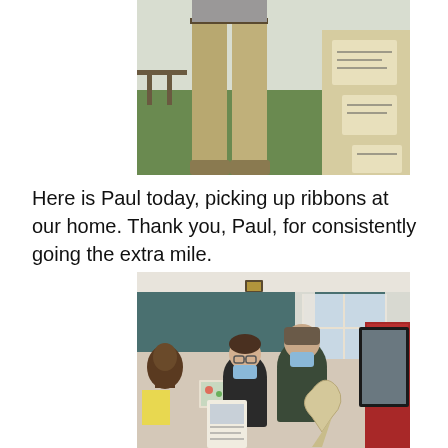[Figure (photo): Outdoor scene showing a person from waist down wearing khaki pants standing on green grass, with cardboard ribbons and a table visible to the right]
Here is Paul today, picking up ribbons at our home. Thank you, Paul, for consistently going the extra mile.
[Figure (photo): Indoor photo of two people wearing blue face masks standing together inside a home, one holding a document/flyer and the other holding a large cardboard ribbon shape; a decorative African-style face sculpture is visible on the wall to the left, and a window with curtains and a red door are visible in the background]